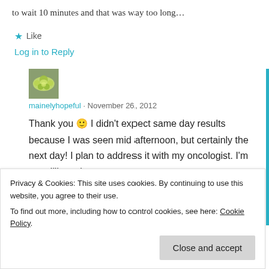to wait 10 minutes and that was way too long…
Like
Log in to Reply
[Figure (photo): Avatar image of mainelyhopeful: green floral wreath on grey background]
mainelyhopeful · November 26, 2012
Thank you 🙂 I didn't expect same day results because I was seen mid afternoon, but certainly the next day! I plan to address it with my oncologist. I'm sure I'll get the
Privacy & Cookies: This site uses cookies. By continuing to use this website, you agree to their use.
To find out more, including how to control cookies, see here: Cookie Policy
Close and accept